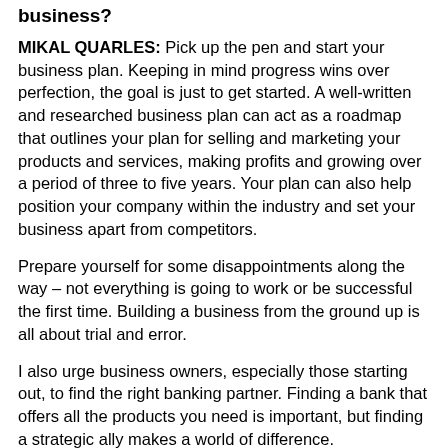business?
MIKAL QUARLES: Pick up the pen and start your business plan. Keeping in mind progress wins over perfection, the goal is just to get started. A well-written and researched business plan can act as a roadmap that outlines your plan for selling and marketing your products and services, making profits and growing over a period of three to five years. Your plan can also help position your company within the industry and set your business apart from competitors.
Prepare yourself for some disappointments along the way – not everything is going to work or be successful the first time. Building a business from the ground up is all about trial and error.
I also urge business owners, especially those starting out, to find the right banking partner. Finding a bank that offers all the products you need is important, but finding a strategic ally makes a world of difference.
And finally, I'd say to remember that while putting in the